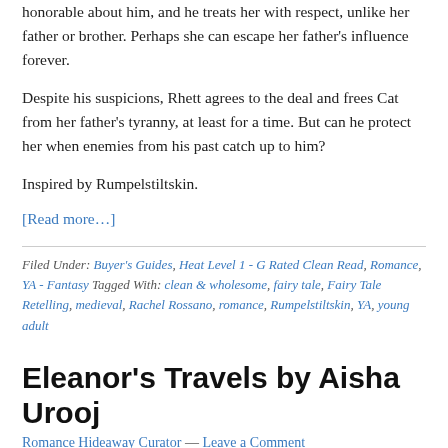honorable about him, and he treats her with respect, unlike her father or brother. Perhaps she can escape her father's influence forever.
Despite his suspicions, Rhett agrees to the deal and frees Cat from her father's tyranny, at least for a time. But can he protect her when enemies from his past catch up to him?
Inspired by Rumpelstiltskin.
[Read more…]
Filed Under: Buyer's Guides, Heat Level 1 - G Rated Clean Read, Romance, YA - Fantasy Tagged With: clean & wholesome, fairy tale, Fairy Tale Retelling, medieval, Rachel Rossano, romance, Rumpelstiltskin, YA, young adult
Eleanor's Travels by Aisha Urooj
Romance Hideaway Curator — Leave a Comment